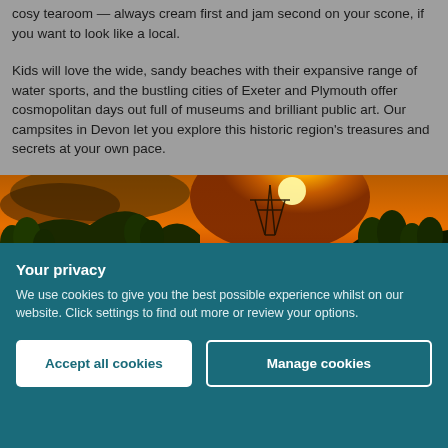cosy tearoom — always cream first and jam second on your scone, if you want to look like a local.
Kids will love the wide, sandy beaches with their expansive range of water sports, and the bustling cities of Exeter and Plymouth offer cosmopolitan days out full of museums and brilliant public art. Our campsites in Devon let you explore this historic region's treasures and secrets at your own pace.
[Figure (photo): Landscape photo of a golden sunset over hills with silhouetted trees and an electricity pylon, warm orange and yellow sky]
Your privacy
We use cookies to give you the best possible experience whilst on our website. Click settings to find out more or review your options.